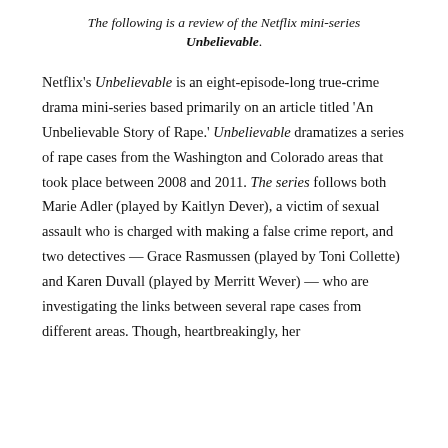The following is a review of the Netflix mini-series Unbelievable.
Netflix's Unbelievable is an eight-episode-long true-crime drama mini-series based primarily on an article titled 'An Unbelievable Story of Rape.' Unbelievable dramatizes a series of rape cases from the Washington and Colorado areas that took place between 2008 and 2011. The series follows both Marie Adler (played by Kaitlyn Dever), a victim of sexual assault who is charged with making a false crime report, and two detectives — Grace Rasmussen (played by Toni Collette) and Karen Duvall (played by Merritt Wever) — who are investigating the links between several rape cases from different areas. Though, heartbreakingly, her